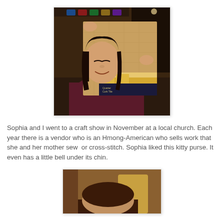[Figure (photo): A young Asian woman smiling and holding up a large cork board tile package in what appears to be a dim indoor setting with decorations in the background.]
Sophia and I went to a craft show in November at a local church. Each year there is a vendor who is an Hmong-American who sells work that she and her mother sew  or cross-stitch. Sophia liked this kitty purse. It even has a little bell under its chin.
[Figure (photo): Partial photo of a person with brown hair, appears to be the top of their head, in an indoor setting.]